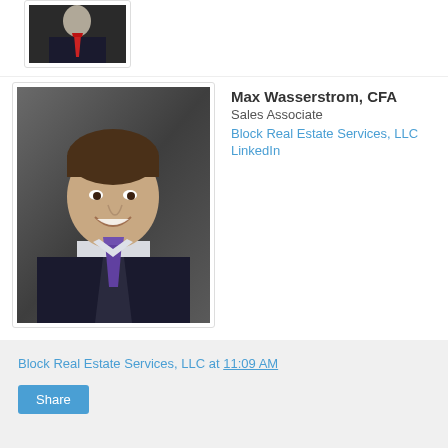[Figure (photo): Partial profile photo at top of page, person in dark suit with red tie, cropped]
[Figure (photo): Professional headshot of Max Wasserstrom, CFA — young man in dark suit with purple tie, smiling, gray background]
Max Wasserstrom, CFA
Sales Associate
Block Real Estate Services, LLC
LinkedIn
Block Real Estate Services, LLC at 11:09 AM
Share